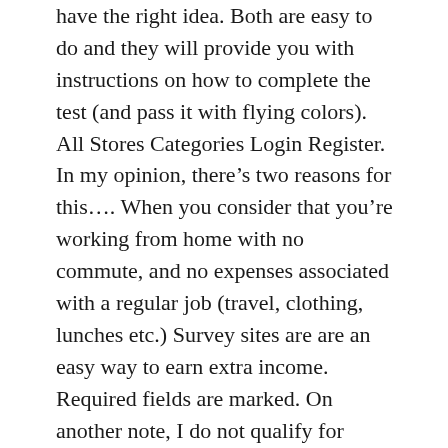have the right idea. Both are easy to do and they will provide you with instructions on how to complete the test (and pass it with flying colors). All Stores Categories Login Register. In my opinion, there’s two reasons for this…. When you consider that you’re working from home with no commute, and no expenses associated with a regular job (travel, clothing, lunches etc.) Survey sites are are an easy way to earn extra income. Required fields are marked. On another note, I do not qualify for about 95% of the tests. If they consider your test unhelpful to their objective, it may be rejected… and you don’t get paid. The tests take about 15 to 20 minutes to complete and then you can submit it for review and approval. TryMyUI pays with PayPal only. The software does not have a pay per participant plan – so you’ll need to jump on